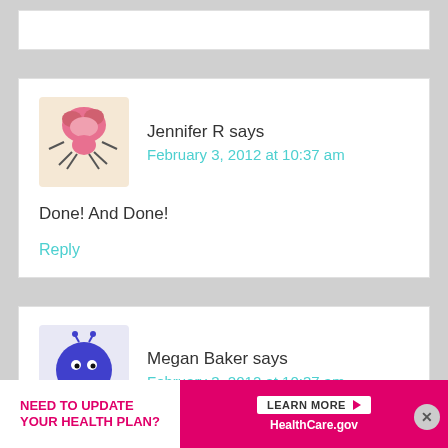Jennifer R says
February 3, 2012 at 10:37 am
Done! And Done!
Reply
Megan Baker says
February 3, 2012 at 10:37 am
[Figure (illustration): Avatar illustration of Jennifer R - cartoon creature with pink brain-like top and crab-like legs]
[Figure (illustration): Avatar illustration of Megan Baker - cartoon blue round creature with small legs]
[Figure (infographic): Ad banner: NEED TO UPDATE YOUR HEALTH PLAN? LEARN MORE HealthCare.gov]